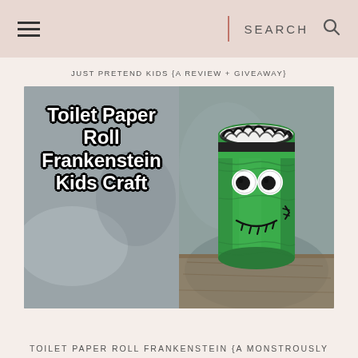SEARCH
JUST PRETEND KIDS {A REVIEW + GIVEAWAY}
[Figure (photo): A toilet paper roll decorated as Frankenstein's monster with green paint, googly eyes, black hair drawn on top, and a stitched mouth. Text overlay on the left reads 'Toilet Paper Roll Frankenstein Kids Craft' in bold white letters with black outline.]
TOILET PAPER ROLL FRANKENSTEIN {A MONSTROUSLY